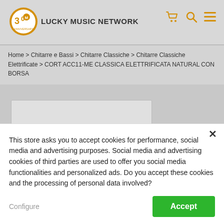[Figure (logo): Lucky Music Network logo with 30th anniversary badge — orange/gold circular badge with '30' and musical note, followed by bold text 'LUCKY MUSIC NETWORK']
[Figure (infographic): Three orange icons in the header: shopping cart, magnifying glass (search), and hamburger menu]
Home > Chitarre e Bassi > Chitarre Classiche > Chitarre Classiche Elettrificate > CORT ACC11-ME CLASSICA ELETTRIFICATA NATURAL CON BORSA
[Figure (photo): Light grey placeholder rectangle representing a product image area]
This store asks you to accept cookies for performance, social media and advertising purposes. Social media and advertising cookies of third parties are used to offer you social media functionalities and personalized ads. Do you accept these cookies and the processing of personal data involved?
Configure
Accept